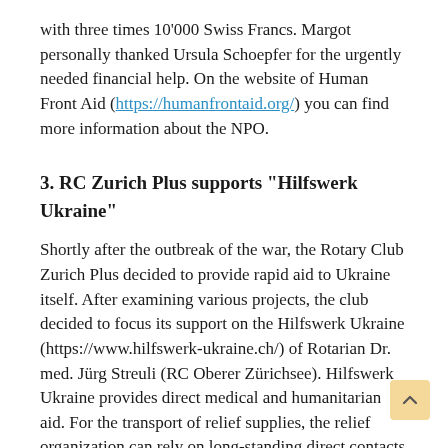with three times 10'000 Swiss Francs. Margot personally thanked Ursula Schoepfer for the urgently needed financial help. On the website of Human Front Aid (https://humanfrontaid.org/) you can find more information about the NPO.
3. RC Zurich Plus supports "Hilfswerk Ukraine"
Shortly after the outbreak of the war, the Rotary Club Zurich Plus decided to provide rapid aid to Ukraine itself. After examining various projects, the club decided to focus its support on the Hilfswerk Ukraine (https://www.hilfswerk-ukraine.ch/) of Rotarian Dr. med. Jürg Streuli (RC Oberer Zürichsee). Hilfswerk Ukraine provides direct medical and humanitarian aid. For the transport of relief supplies, the relief organization can rely on long-standing direct contacts in Ukraine and with the Ukrainian Embassy in Bern. If you would like to support the Rotary Club Zurich